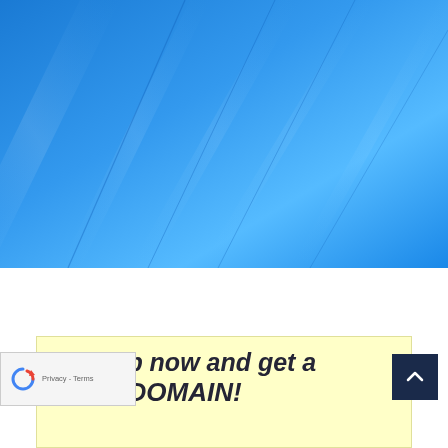[Figure (photo): Abstract blue diagonal streaks background image, light to medium blue gradient with diagonal lines/brush strokes.]
Sign up now and get a FREE DOMAIN!